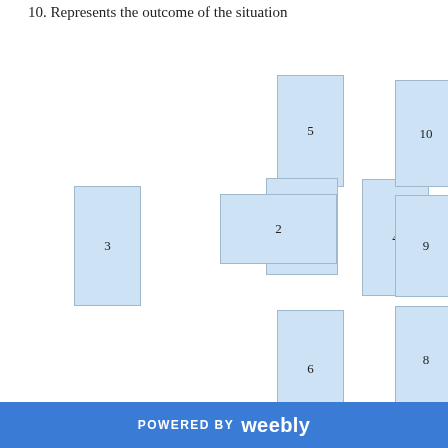10. Represents the outcome of the situation
[Figure (infographic): Tarot card layout diagram showing numbered card positions: card 5 at top center, cards 1 and 2 overlapping in the center cross, card 3 to the left, card 4 to the right, card 6 below center, and cards 7, 8, 9, 10 stacked vertically on the right side.]
POWERED BY weebly